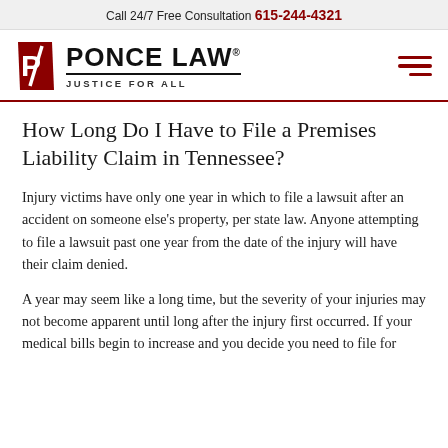Call 24/7 Free Consultation 615-244-4321
[Figure (logo): Ponce Law logo with red stylized PL icon, text PONCE LAW with registered trademark, tagline JUSTICE FOR ALL]
How Long Do I Have to File a Premises Liability Claim in Tennessee?
Injury victims have only one year in which to file a lawsuit after an accident on someone else's property, per state law. Anyone attempting to file a lawsuit past one year from the date of the injury will have their claim denied.
A year may seem like a long time, but the severity of your injuries may not become apparent until long after the injury first occurred. If your medical bills begin to increase and you decide you need to file for